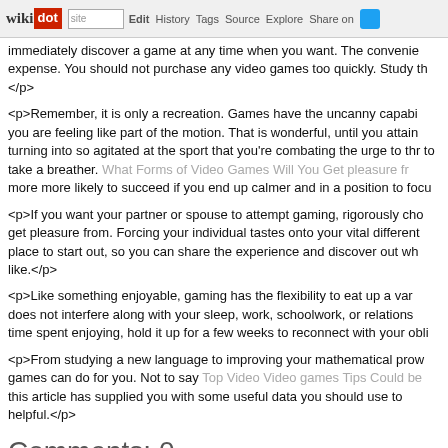wikidot | site | Edit | History | Tags | Source | Explore | Share on
immediately discover a game at any time when you want. The convenie expense. You should not purchase any video games too quickly. Study th </p>
<p>Remember, it is only a recreation. Games have the uncanny capabi you are feeling like part of the motion. That is wonderful, until you attain turning into so agitated at the sport that you're combating the urge to thr to take a breather. What Forms of Video Games Will You Get pleasure fr more more likely to succeed if you end up calmer and in a position to focu
<p>If you want your partner or spouse to attempt gaming, rigorously cho get pleasure from. Forcing your individual tastes onto your vital different place to start out, so you can share the experience and discover out wh like.</p>
<p>Like something enjoyable, gaming has the flexibility to eat up a var does not interfere along with your sleep, work, schoolwork, or relations time spent enjoying, hold it up for a few weeks to reconnect with your obli
<p>From studying a new language to improving your mathematical prow games can do for you. Not to say Top Video Video games Tips Could be this article has supplied you with some useful data you should use to helpful.</p>
Comments: 0
Add a New Comment